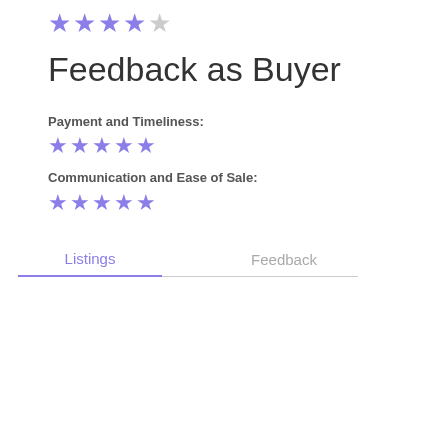[Figure (other): 4 out of 5 stars rating row (4 filled purple stars, 1 empty star)]
Feedback as Buyer
Payment and Timeliness:
[Figure (other): 5 out of 5 stars rating row (5 filled purple stars) for Payment and Timeliness]
Communication and Ease of Sale:
[Figure (other): 5 out of 5 stars rating row (5 filled purple stars) for Communication and Ease of Sale]
Listings	Feedback